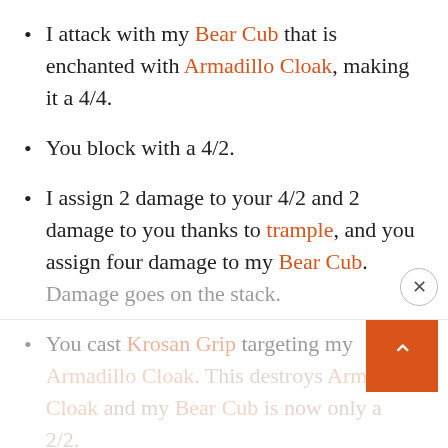I attack with my Bear Cub that is enchanted with Armadillo Cloak, making it a 4/4.
You block with a 4/2.
I assign 2 damage to your 4/2 and 2 damage to you thanks to trample, and you assign four damage to my Bear Cub. Damage goes on the stack.
You cast Krosan Grip targeting my Armadillo Cloak. This destroys Armadillo Cloak and my Bear Cub is now only a 2/2.